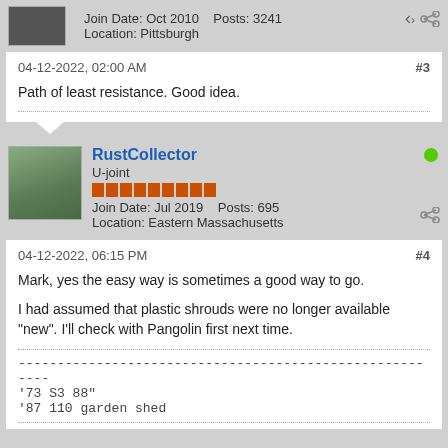Join Date: Oct 2010   Posts: 3241
Location: Pittsburgh
04-12-2022, 02:00 AM   #3
Path of least resistance. Good idea.
RustCollector
U-joint
Join Date: Jul 2019   Posts: 695
Location: Eastern Massachusetts
04-12-2022, 06:15 PM   #4
Mark, yes the easy way is sometimes a good way to go.

I had assumed that plastic shrouds were no longer available "new". I'll check with Pangolin first next time.
--------------------------------------------------------
'73 S3 88"
'87 110 garden shed